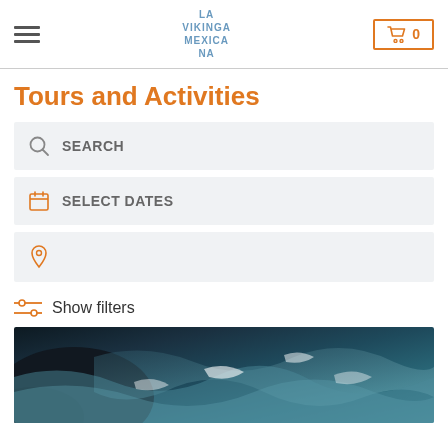LA VIKINGA MEXICANA — Cart 0
Tours and Activities
SEARCH
SELECT DATES
(location pin icon — empty field)
Show filters
[Figure (photo): Aerial or close-up photo of dark rocky coastline with crashing blue-green ocean waves]